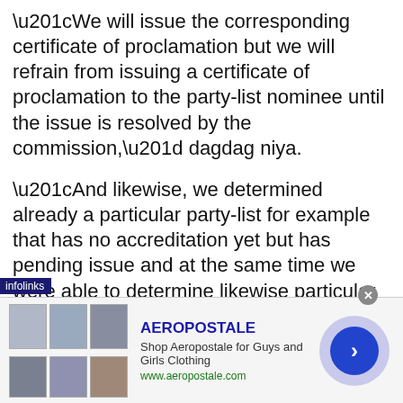“We will issue the corresponding certificate of proclamation but we will refrain from issuing a certificate of proclamation to the party-list nominee until the issue is resolved by the commission,” dagdag niya.
“And likewise, we determined already a particular party-list for example that has no accreditation yet but has pending issue and at the same time we were able to determine likewise particular until today has pending petition for disqualification,” sabi pa ng komisyoner.
“As far as we are concerned we proceed with the proclamation and we will be guided by policy.
[Figure (other): Infolinks advertisement banner for Aeropostale with clothing images and a circular arrow button]